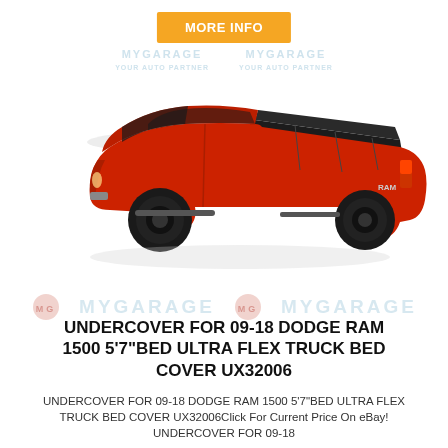[Figure (other): Orange 'MORE INFO' button at top center of page]
[Figure (photo): Red Dodge RAM 1500 pickup truck with black tonneau bed cover, rear 3/4 view, with MYGARAGE watermark overlay]
UNDERCOVER FOR 09-18 DODGE RAM 1500 5'7"BED ULTRA FLEX TRUCK BED COVER UX32006
UNDERCOVER FOR 09-18 DODGE RAM 1500 5'7"BED ULTRA FLEX TRUCK BED COVER UX32006Click For Current Price On eBay! UNDERCOVER FOR 09-18